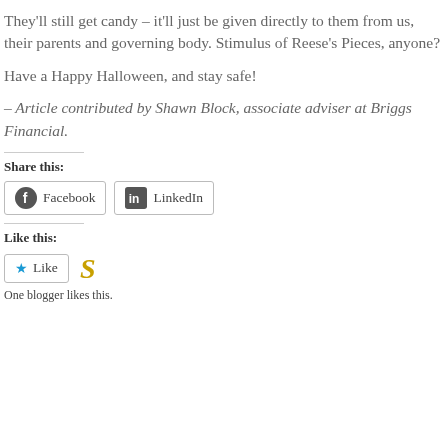They'll still get candy – it'll just be given directly to them from us, their parents and governing body. Stimulus of Reese's Pieces, anyone?
Have a Happy Halloween, and stay safe!
– Article contributed by Shawn Block, associate adviser at Briggs Financial.
Share this:
Facebook  LinkedIn
Like this:
Like
One blogger likes this.